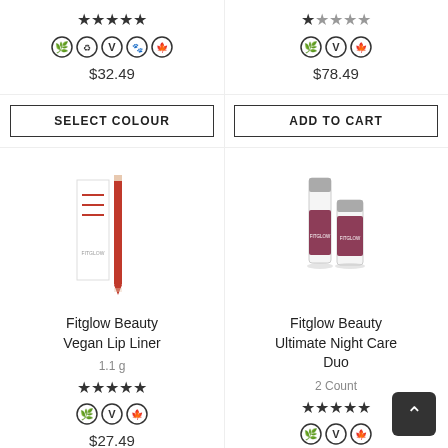[Figure (other): 5-star rating row for left top product, partial]
[Figure (other): 1-star rating row for right top product, partial]
[Figure (other): Product icons (leaf, vegan, cruelty-free, maple) for left top product]
$32.49
[Figure (other): Product icons (leaf, vegan, maple) for right top product]
$78.49
SELECT COLOUR
ADD TO CART
[Figure (photo): Fitglow Beauty Vegan Lip Liner product image showing pencil and packaging]
[Figure (photo): Fitglow Beauty Ultimate Night Care Duo product image showing two bottles]
Fitglow Beauty Vegan Lip Liner
Fitglow Beauty Ultimate Night Care Duo
1.1 g
2 Count
[Figure (other): 5-star rating for Fitglow Beauty Vegan Lip Liner]
[Figure (other): 5-star rating for Fitglow Beauty Ultimate Night Care Duo]
[Figure (other): Product icons (leaf, vegan, maple) for Vegan Lip Liner]
$27.49
[Figure (other): Product icons (leaf, vegan, maple) for Ultimate Night Care Duo]
$102.49